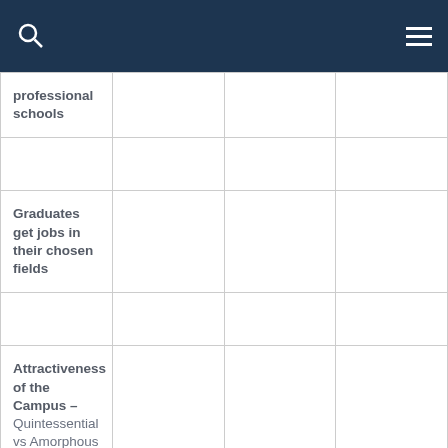| professional schools |  |  |  |
|  |  |  |  |
| Graduates get jobs in their chosen fields |  |  |  |
|  |  |  |  |
| Attractiveness of the Campus – Quintessential vs Amorphous |  |  |  |
|  |  |  |  |
|  |  |  |  |